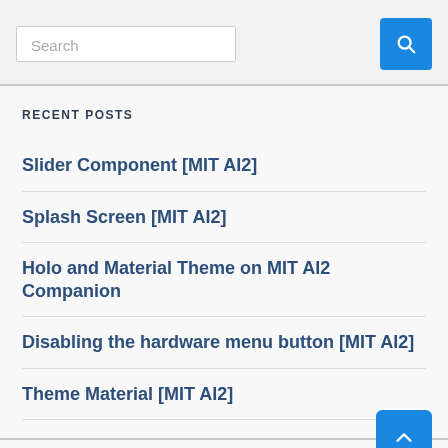[Figure (screenshot): Search input field with placeholder text 'Search' and a blue search button with magnifying glass icon]
RECENT POSTS
Slider Component [MIT AI2]
Splash Screen [MIT AI2]
Holo and Material Theme on MIT AI2 Companion
Disabling the hardware menu button [MIT AI2]
Theme Material [MIT AI2]
ARCHIVES